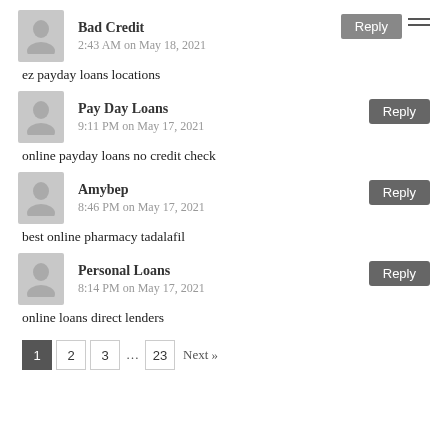Bad Credit
2:43 AM on May 18, 2021
ez payday loans locations
Pay Day Loans
9:11 PM on May 17, 2021
online payday loans no credit check
Amybep
8:46 PM on May 17, 2021
best online pharmacy tadalafil
Personal Loans
8:14 PM on May 17, 2021
online loans direct lenders
1 2 3 … 23 Next »